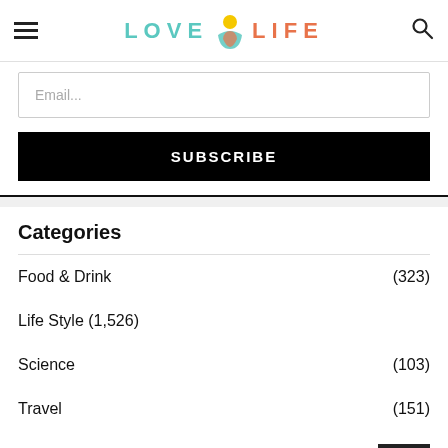LOVE LIFE (logo with icon)
Email...
SUBSCRIBE
Categories
Food & Drink (323)
Life Style (1,526)
Science (103)
Travel (151)
Trends (1…)
Uncategorized (19)